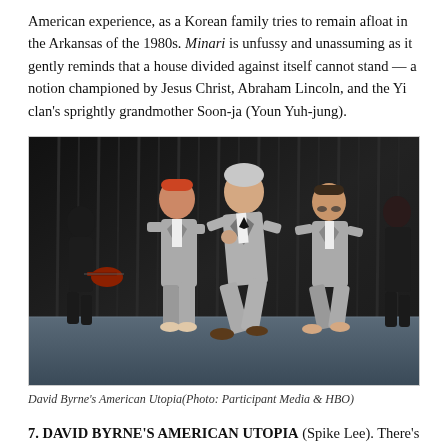American experience, as a Korean family tries to remain afloat in the Arkansas of the 1980s. Minari is unfussy and unassuming as it gently reminds that a house divided against itself cannot stand — a notion championed by Jesus Christ, Abraham Lincoln, and the Yi clan's sprightly grandmother Soon-ja (Youn Yuh-jung).
[Figure (photo): Stage performance photo showing performers in grey suits dancing/moving on a dark stage. Center figure is a silver-haired man in a grey suit, flanked by other performers in matching grey suits. A guitarist in dark clothing is visible on the left. Dark curtain backdrop.]
David Byrne's American Utopia (Photo: Participant Media & HBO)
7. DAVID BYRNE'S AMERICAN UTOPIA (Spike Lee). There's no truth to